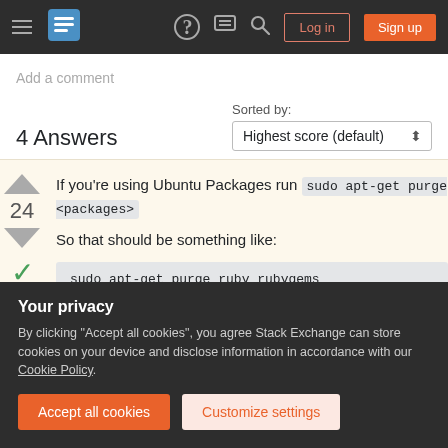[Figure (screenshot): Stack Exchange navigation bar with hamburger menu, logo, help icon, chat icon, search icon, Log in and Sign up buttons]
Add a comment
4 Answers
Sorted by:
If you're using Ubuntu Packages run sudo apt-get purge <packages>
So that should be something like:
sudo apt-get purge ruby rubygems
Your privacy
By clicking "Accept all cookies", you agree Stack Exchange can store cookies on your device and disclose information in accordance with our Cookie Policy.
Accept all cookies
Customize settings